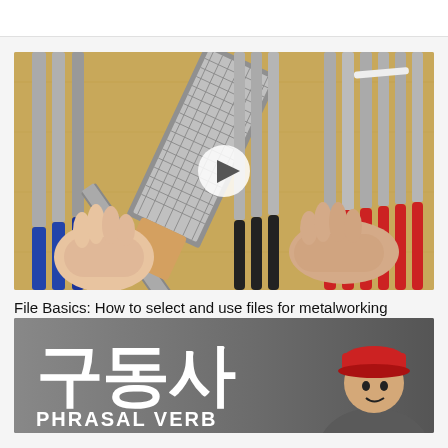[Figure (screenshot): Video thumbnail showing metalworking files laid out on a wooden surface. Two hands are visible holding files/tools. A play button overlay is visible in the center.]
File Basics: How to select and use files for metalworking
[Figure (screenshot): Video thumbnail with dark gray background showing Korean text '구동사' in large white letters, text 'PHRASAL VERB' in large white letters at the bottom, and a man wearing a red cap visible on the right side.]